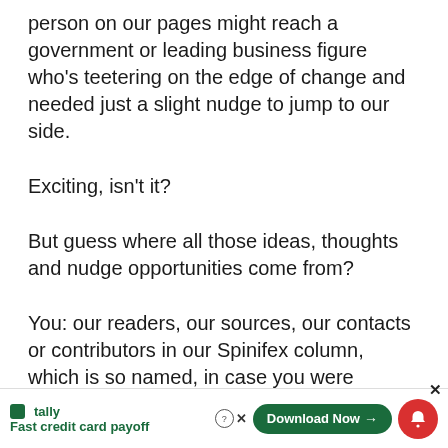person on our pages might reach a government or leading business figure who's teetering on the edge of change and needed just a slight nudge to jump to our side.
Exciting, isn't it?
But guess where all those ideas, thoughts and nudge opportunities come from?
You: our readers, our sources, our contacts or contributors in our Spinifex column, which is so named, in case you were wondering, because it's the spikey end of sustainability; the place wh…
[Figure (other): Tally advertisement bar at the bottom: Tally logo with 'Fast credit card payoff' tagline on the left, and a green 'Download Now →' button on the right, with a red notification bell icon and close buttons.]